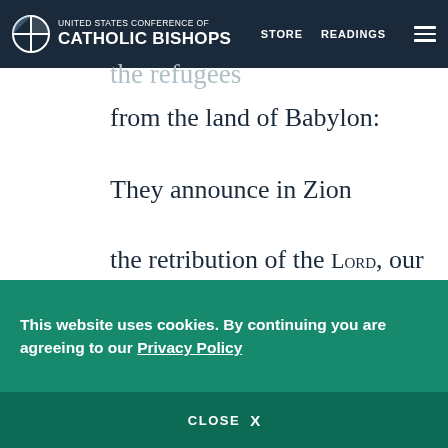UNITED STATES CONFERENCE OF CATHOLIC BISHOPS | STORE | READINGS
the refugees
from the land of Babylon:
They announce in Zion
the retribution of the LORD, our God.u
29  Call archers out against Babylon,
all who bend the bow;
Encamp around them;
This website uses cookies. By continuing you are agreeing to our Privacy Policy
CLOSE  X